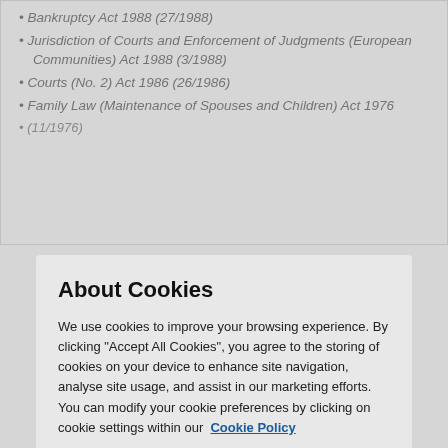Bankruptcy Act 1988 (27/1988)
Jurisdiction of Courts and Enforcement of Judgments (European Communities) Act 1988 (3/1988)
Courts (No. 2) Act 1986 (26/1986)
Family Law (Maintenance of Spouses and Children) Act 1976 (11/1976)
About Cookies
We use cookies to improve your browsing experience. By clicking "Accept All Cookies", you agree to the storing of cookies on your device to enhance site navigation, analyse site usage, and assist in our marketing efforts. You can modify your cookie preferences by clicking on cookie settings within our  Cookie Policy
Cookies Settings
Reject All
Accept All Cookies